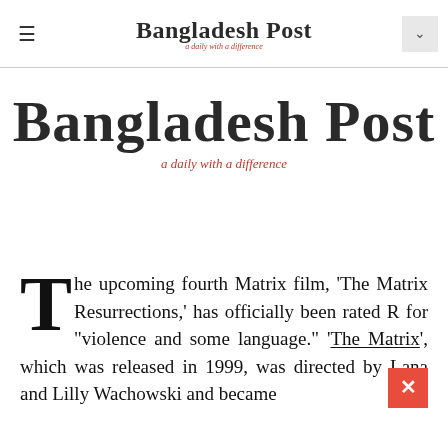Bangladesh Post — a daily with a difference
[Figure (logo): Bangladesh Post newspaper logo in blackletter/Old English style font with tagline 'a daily with a difference' in red italic below]
The upcoming fourth Matrix film, 'The Matrix Resurrections,' has officially been rated R for "violence and some language." 'The Matrix', which was released in 1999, was directed by Lana and Lilly Wachowski and became